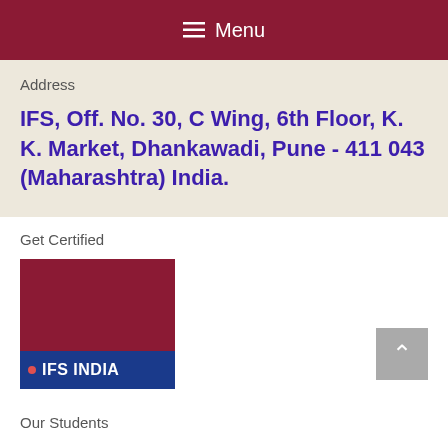≡ Menu
Address
IFS, Off. No. 30, C Wing, 6th Floor, K. K. Market, Dhankawadi, Pune - 411 043 (Maharashtra) India.
Get Certified
[Figure (logo): IFS India logo with dark red background on top and navy blue banner on bottom showing a red dot and IFS INDIA text in white]
Our Students